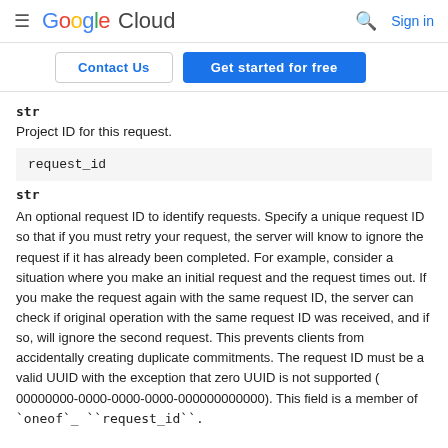Google Cloud — Sign in
Contact Us | Get started for free
str
Project ID for this request.
request_id
str
An optional request ID to identify requests. Specify a unique request ID so that if you must retry your request, the server will know to ignore the request if it has already been completed. For example, consider a situation where you make an initial request and the request times out. If you make the request again with the same request ID, the server can check if original operation with the same request ID was received, and if so, will ignore the second request. This prevents clients from accidentally creating duplicate commitments. The request ID must be a valid UUID with the exception that zero UUID is not supported ( 00000000-0000-0000-0000-000000000000). This field is a member of `oneof`_ ``request_id``.